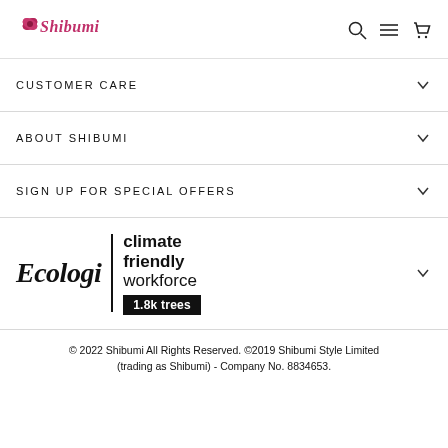[Figure (logo): Shibumi brand logo with pink butterfly/flower motif and italic script text]
CUSTOMER CARE
ABOUT SHIBUMI
SIGN UP FOR SPECIAL OFFERS
[Figure (logo): Ecologi climate friendly workforce badge showing 1.8k trees planted]
© 2022 Shibumi All Rights Reserved. ©2019 Shibumi Style Limited (trading as Shibumi) - Company No. 8834653.